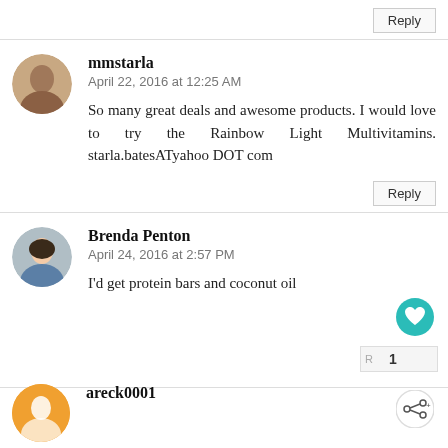Reply
mmstarla
April 22, 2016 at 12:25 AM
So many great deals and awesome products. I would love to try the Rainbow Light Multivitamins. starla.batesATyahoo DOT com
Reply
Brenda Penton
April 24, 2016 at 2:57 PM
I'd get protein bars and coconut oil
1
areck0001